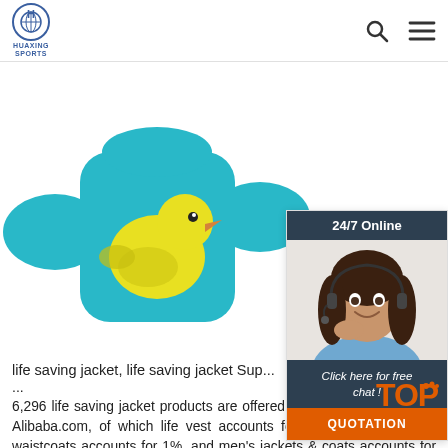HUAXING SPORTS
[Figure (photo): A turquoise/teal children's life saving swim jacket/vest with a yellow rubber duck graphic on the front, photographed on a white background. The jacket has arm floaties on the sides.]
[Figure (photo): 24/7 Online chat widget showing a smiling female customer service representative wearing a headset, with a dark teal header saying '24/7 Online', italic text 'Click here for free chat!' and an orange 'QUOTATION' button at the bottom.]
life saving jacket, life saving jacket Sup...
6,296 life saving jacket products are offered for sale by suppliers on Alibaba.com, of which life vest accounts for 67%, men's vests & waistcoats accounts for 1%, and men's jackets & coats accounts for 1%. A wide variety of life saving jacket options are available to you, such as unisex. You can also choose from 0 life saving